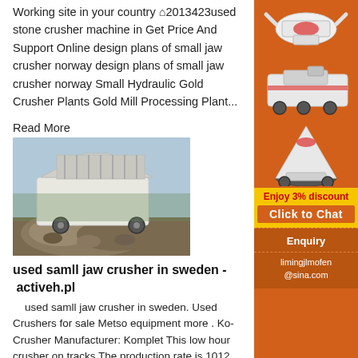Working site in your country ⌂2013423used stone crusher machine in Get Price And Support Online design plans of small jaw crusher norway design plans of small jaw crusher norway Small Hydraulic Gold Crusher Plants Gold Mill Processing Plant...
Read More
[Figure (photo): Photo of a large jaw crusher machine outdoors with a pile of crushed stone/rocks in the foreground and trees in the background.]
used samll jaw crusher in sweden - activeh.pl
used samll jaw crusher in sweden. Used Crushers for sale Metso equipment more . Ko- Crusher Manufacturer: Komplet This low hour crusher on tracks The production rate is 1012 had a inlet opening 27"x16", size out let 3/4"4" This is a nice compact crusher with cross belt magnet to remove
[Figure (illustration): Sidebar advertisement showing illustrations of mining/crushing machinery equipment (cone crusher, jaw crusher, mobile crusher) on an orange background with 'Enjoy 3% discount' and 'Click to Chat' buttons, and Enquiry / limingjlmofen@sina.com contact info.]